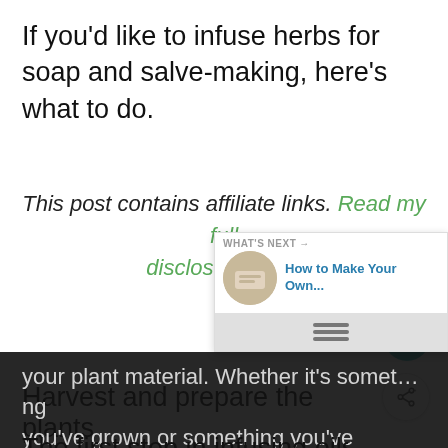If you'd like to infuse herbs for soap and salve-making, here's what to do.
This post contains affiliate links. Read my full disclosure here.
Harvest and prepare the plants
The first step in infusing oils is to harvest your plant material. Whether it's something you've grown or something you've foraged